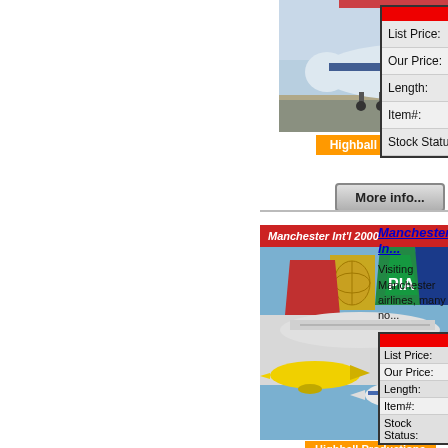[Figure (photo): Photo of a large commercial airliner (appears to be a Boeing 747 or similar) on a taxiway, with blue and white livery, under a cloudy sky.]
Highball Productions
More info...
| List Price: |  |
| Our Price: |  |
| Length: |  |
| Item#: |  |
| Stock Status: |  |
[Figure (photo): DVD cover for 'Manchester Int'l 2000' by Highball Productions. Shows multiple airline tail fins including PIA (green), Delta (red), Continental (gold/blue globe), and other aircraft. A yellow aircraft and British Airways jet are visible in lower portion.]
Highball Productions
Manchester In...
Visiting Manchester airlines, many no...
| List Price: |  |
| Our Price: |  |
| Length: |  |
| Item#: |  |
| Stock Status: |  |
More info...